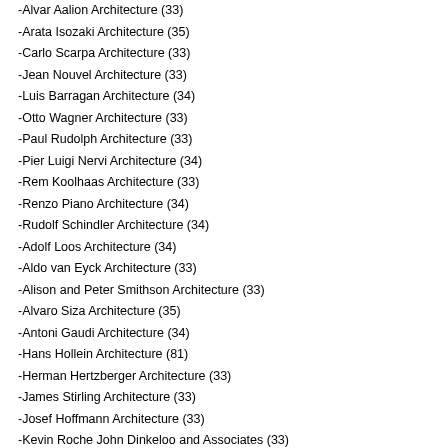-Alvar Aalion Architecture (33)
-Arata Isozaki Architecture (35)
-Carlo Scarpa Architecture (33)
-Jean Nouvel Architecture (33)
-Luis Barragan Architecture (34)
-Otto Wagner Architecture (33)
-Paul Rudolph Architecture (33)
-Pier Luigi Nervi Architecture (34)
-Rem Koolhaas Architecture (33)
-Renzo Piano Architecture (34)
-Rudolf Schindler Architecture (34)
-Adolf Loos Architecture (34)
-Aldo van Eyck Architecture (33)
-Alison and Peter Smithson Architecture (33)
-Alvaro Siza Architecture (35)
-Antoni Gaudi Architecture (34)
-Hans Hollein Architecture (81)
-Herman Hertzberger Architecture (33)
-James Stirling Architecture (33)
-Josef Hoffmann Architecture (33)
-Kevin Roche John Dinkeloo and Associates (33)